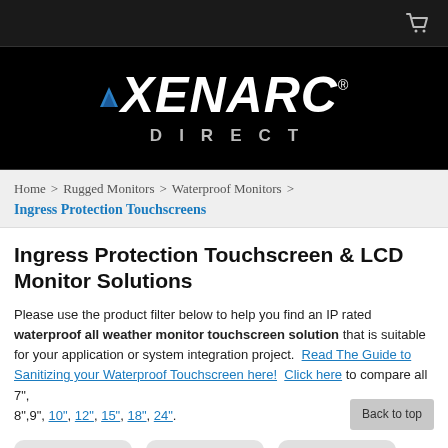[Figure (logo): Xenarc Direct logo on black background with blue triangle and white italic bold text]
Home > Rugged Monitors > Waterproof Monitors > Ingress Protection Touchscreens
Ingress Protection Touchscreen & LCD Monitor Solutions
Please use the product filter below to help you find an IP rated waterproof all weather monitor touchscreen solution that is suitable for your application or system integration project.  Read The Guide to Sanitizing your Waterproof Touchscreen here!  Click here to compare all 7", 8",9", 10", 12", 15", 18", 24".
[Figure (illustration): Three gray rounded-square product thumbnail placeholders with Xenarc logo marks visible]